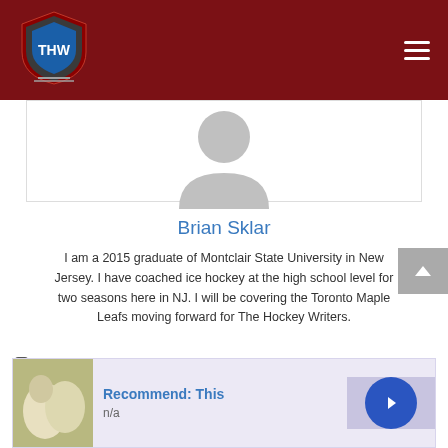[Figure (logo): THW (The Hockey Writers) shield logo in red, white and blue on dark red header bar]
[Figure (photo): Default grey avatar/silhouette profile photo placeholder]
Brian Sklar
I am a 2015 graduate of Montclair State University in New Jersey. I have coached ice hockey at the high school level for two seasons here in NJ. I will be covering the Toronto Maple Leafs moving forward for The Hockey Writers.
Tampa Bay Lightning
Cedric Paquette, J.T. Brown, Ryan Callahan
[Figure (screenshot): Advertisement banner: Recommend: This, n/a, with onion image and blue arrow button]